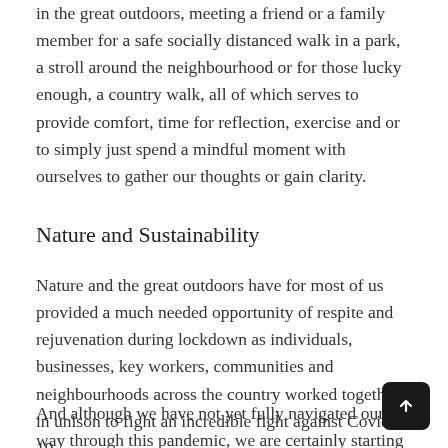in the great outdoors, meeting a friend or a family member for a safe socially distanced walk in a park, a stroll around the neighbourhood or for those lucky enough, a country walk, all of which serves to provide comfort, time for reflection, exercise and or to simply just spend a mindful moment with ourselves to gather our thoughts or gain clarity.
Nature and Sustainability
Nature and the great outdoors have for most of us provided a much needed opportunity of respite and rejuvenation during lockdown as individuals, businesses, key workers, communities and neighbourhoods across the country worked together in unison to fight an incredible fight against Covid-19.
And although we have not yet fully navigated our way through this pandemic, we are certainly starting to see